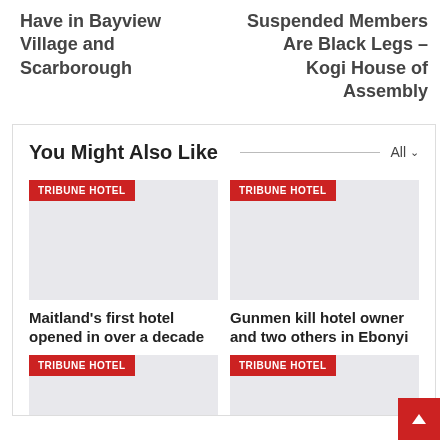Have in Bayview Village and Scarborough
Suspended Members Are Black Legs – Kogi House of Assembly
You Might Also Like
[Figure (photo): Thumbnail image placeholder with TRIBUNE HOTEL badge - Maitland's first hotel]
[Figure (photo): Thumbnail image placeholder with TRIBUNE HOTEL badge - Gunmen kill hotel owner]
Maitland's first hotel opened in over a decade
Gunmen kill hotel owner and two others in Ebonyi
[Figure (photo): Thumbnail image placeholder with TRIBUNE HOTEL badge - bottom left card]
[Figure (photo): Thumbnail image placeholder with TRIBUNE HOTEL badge - bottom right card]